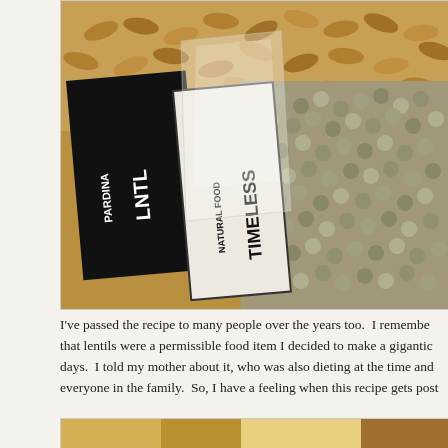[Figure (photo): Close-up photo of lentils and grains with product packaging labels. One black label partially visible with text 'LENTIL' and 'PARDINA', and a white/cream label reading 'TIMELESS NATURAL FOOD'. A clear plastic bag of lentils is visible. Small round green-brown lentils fill the right portion of the image.]
I've passed the recipe to many people over the years too.  I remember that lentils were a permissible food item I decided to make a gigantic days.  I told my mother about it, who was also dieting at the time and everyone in the family.  So, I have a feeling when this recipe gets post
[Figure (photo): Partial view of another photo at the bottom of the page, showing what appears to be wooden surface or food item in warm tan/golden tones.]